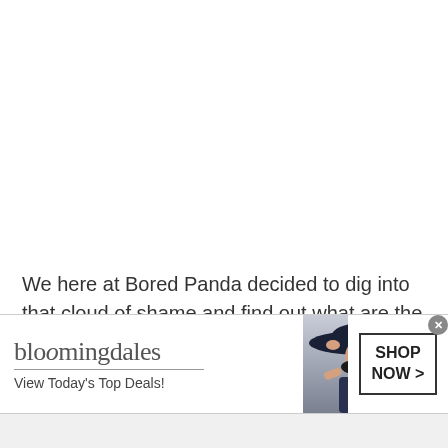We here at Bored Panda decided to dig into that cloud of shame and find out what are the most stupid quotes that were said by Hollywood stars and famous people from different paths of stardom. From funny to completely delusional, these interesting quotes will certainly make yo...
[Figure (other): Bloomingdale's advertisement banner showing the Bloomingdale's logo, 'View Today's Top Deals!' tagline, a photo of a woman in a large brimmed hat, and a 'SHOP NOW >' button. Has a close (x) button in the top right corner.]